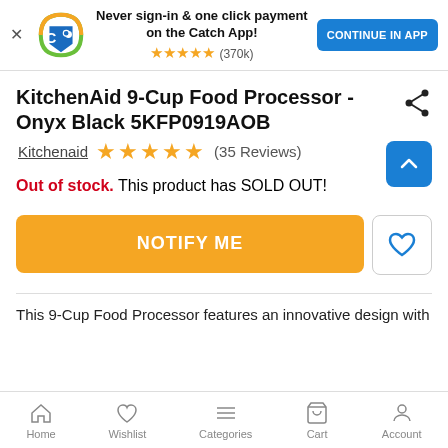[Figure (screenshot): App banner with Catch logo, app install prompt, star rating (370k reviews), and Continue in App button]
KitchenAid 9-Cup Food Processor - Onyx Black 5KFP0919AOB
Kitchenaid ★★★★★ (35 Reviews)
Out of stock. This product has SOLD OUT!
NOTIFY ME
This 9-Cup Food Processor features an innovative design with
Home   Wishlist   Categories   Cart   Account